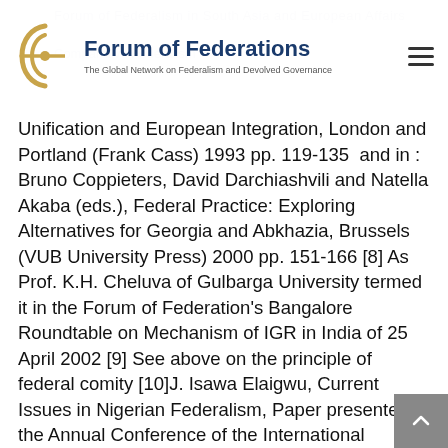Forum of Federations — The Global Network on Federalism and Devolved Governance
Unification and European Integration, London and Portland (Frank Cass) 1993 pp. 119-135  and in : Bruno Coppieters, David Darchiashvili and Natella Akaba (eds.), Federal Practice: Exploring Alternatives for Georgia and Abkhazia, Brussels (VUB University Press) 2000 pp. 151-166 [8] As Prof. K.H. Cheluva of Gulbarga University termed it in the Forum of Federation's Bangalore Roundtable on Mechanism of IGR in India of 25 April 2002 [9] See above on the principle of federal comity [10]J. Isawa Elaigwu, Current Issues in Nigerian Federalism, Paper presented at the Annual Conference of the International Association of Centres for Federal Studies, Nice, 8-12 November 2000, p.16 [11] For some more detail see Uwe Leonardy, op.cit. (note 1) pp. 15-17 and for recent constitutional development cf. the leading judgment of the Federal Constitutional Court